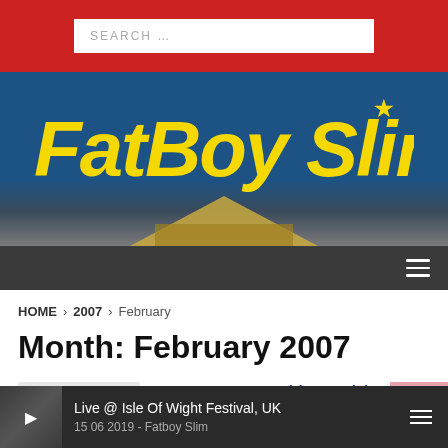SEARCH ...
[Figure (logo): Fatboy Slim logo in yellow graffiti-style text on a blue/dark background with pyramid at bottom]
HOME > 2007 > February
Month: February 2007
Bent – To Be Loved (Mr B Mix) | 28th February 2007 | 6 comments
Live @ Isle Of Wight Festival, UK 15 06 2019 - Fatboy Slim